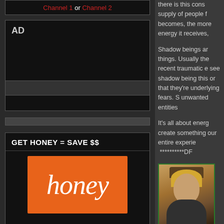Channel 1 or Channel 2
[Figure (screenshot): AD placeholder box with inner bar]
[Figure (other): Thin horizontal bar separator]
GET HONEY = SAVE $$
[Figure (logo): Honey logo on orange background]
there is this cons... supply of people f... becomes, the more... energy it receives,
Shadow beings ar... things. Usually the... recent traumatic e... see shadow being... this or that they're... underlying fears. S... unwanted entities...
It's all about energ... create something ... our entire experie... **********DF
[Figure (photo): Profile photo of a blonde woman wearing a hat, with green border frame]